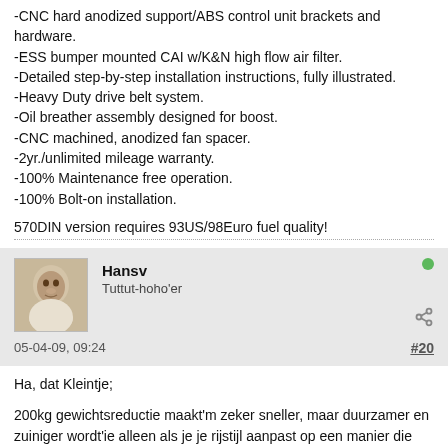-CNC hard anodized support/ABS control unit brackets and hardware.
-ESS bumper mounted CAI w/K&N high flow air filter.
-Detailed step-by-step installation instructions, fully illustrated.
-Heavy Duty drive belt system.
-Oil breather assembly designed for boost.
-CNC machined, anodized fan spacer.
-2yr./unlimited mileage warranty.
-100% Maintenance free operation.
-100% Bolt-on installation.
570DIN version requires 93US/98Euro fuel quality!
Hansv
Tuttut-hoho'er
05-04-09, 09:24
#20
Ha, dat Kleintje;
200kg gewichtsreductie maakt'm zeker sneller, maar duurzamer en zuiniger wordt'ie alleen als je je rijstijl aanpast op een manier die niet echt bij zo'n lichtgewicht kanon meer past....